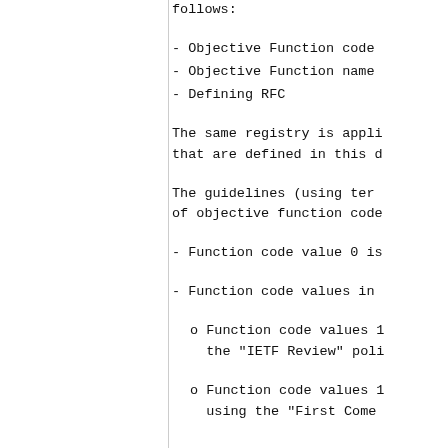follows:
- Objective Function code
- Objective Function name
- Defining RFC
The same registry is appli- that are defined in this d
The guidelines (using ter- of objective function code
- Function code value 0 is
- Function code values in
o Function code values 1 the "IETF Review" poli
o Function code values 1 using the "First Come